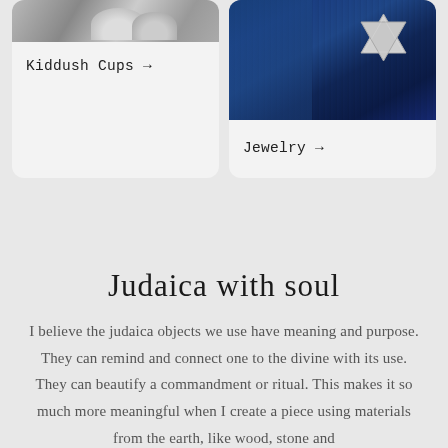[Figure (photo): Partial view of Kiddush cups, silver metallic objects on gray background]
Kiddush Cups →
[Figure (photo): Star of David silver jewelry on deep blue velvet fabric]
Jewelry →
Judaica with soul
I believe the judaica objects we use have meaning and purpose. They can remind and connect one to the divine with its use. They can beautify a commandment or ritual. This makes it so much more meaningful when I create a piece using materials from the earth, like wood, stone and